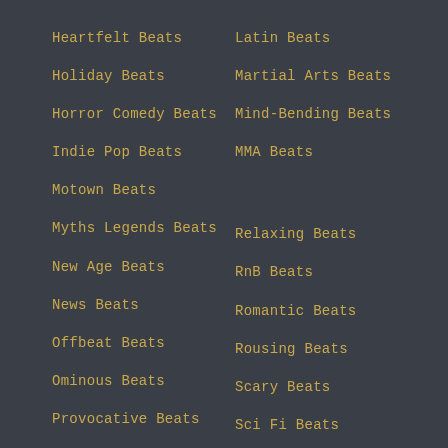Heartfelt Beats
Holiday Beats
Horror Comedy Beats
Indie Pop Beats
Motown Beats
Myths Legends Beats
New Age Beats
News Beats
Offbeat Beats
Ominous Beats
Provocative Beats
Latin Beats
Martial Arts Beats
Mind-Bending Beats
MMA Beats
Relaxing Beats
RnB Beats
Romantic Beats
Rousing Beats
Scary Beats
Sci Fi Beats
Sci Fi Adventure Beats